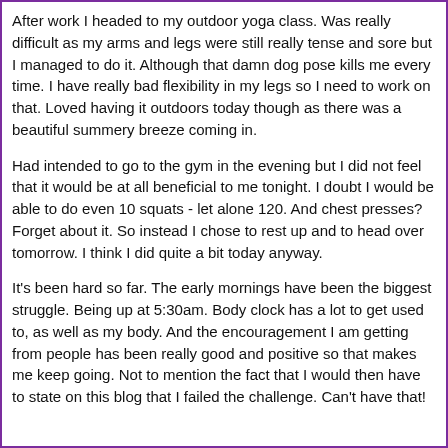After work I headed to my outdoor yoga class. Was really difficult as my arms and legs were still really tense and sore but I managed to do it. Although that damn dog pose kills me every time. I have really bad flexibility in my legs so I need to work on that. Loved having it outdoors today though as there was a beautiful summery breeze coming in.
Had intended to go to the gym in the evening but I did not feel that it would be at all beneficial to me tonight. I doubt I would be able to do even 10 squats - let alone 120. And chest presses? Forget about it. So instead I chose to rest up and to head over tomorrow. I think I did quite a bit today anyway.
It's been hard so far. The early mornings have been the biggest struggle. Being up at 5:30am. Body clock has a lot to get used to, as well as my body. And the encouragement I am getting from people has been really good and positive so that makes me keep going. Not to mention the fact that I would then have to state on this blog that I failed the challenge. Can't have that!